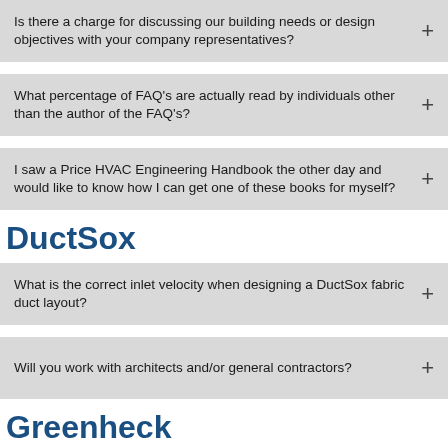Is there a charge for discussing our building needs or design objectives with your company representatives?
What percentage of FAQ's are actually read by individuals other than the author of the FAQ's?
I saw a Price HVAC Engineering Handbook the other day and would like to know how I can get one of these books for myself?
DuctSox
What is the correct inlet velocity when designing a DuctSox fabric duct layout?
Will you work with architects and/or general contractors?
Greenheck
Can I get an explosion proof Greenheck CUBE or BSQ fan?